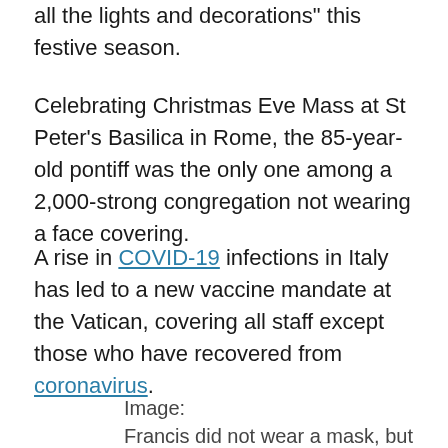all the lights and decorations" this festive season.
Celebrating Christmas Eve Mass at St Peter’s Basilica in Rome, the 85-year-old pontiff was the only one among a 2,000-strong congregation not wearing a face covering.
A rise in COVID-19 infections in Italy has led to a new vaccine mandate at the Vatican, covering all staff except those who have recovered from coronavirus.
Image:
Francis did not wear a mask, but others did
Francis, who is believed to have received a booster jab, has described vaccination is an “act of love”, calling on wealthy countries to give doses to poorer ones.